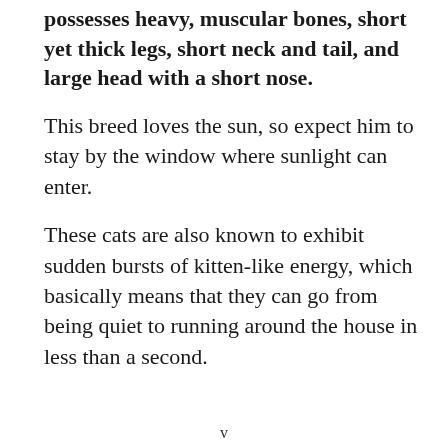possesses heavy, muscular bones, short yet thick legs, short neck and tail, and large head with a short nose.
This breed loves the sun, so expect him to stay by the window where sunlight can enter.
These cats are also known to exhibit sudden bursts of kitten-like energy, which basically means that they can go from being quiet to running around the house in less than a second.
v